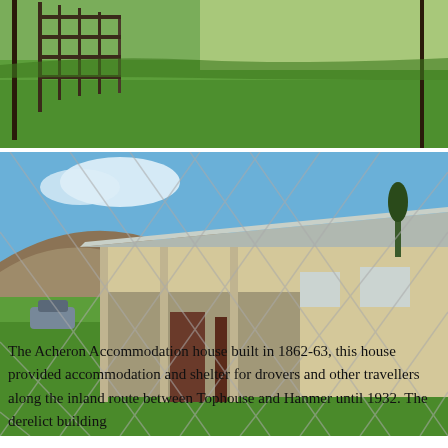[Figure (photo): Top photo showing a green grassy paddock with a metal gate/fence on the left side and open farmland.]
[Figure (photo): Photo of the Acheron Accommodation house, a long single-storey building with a corrugated iron roof, viewed through a chain-link fence. Mountains and trees visible in background, grassy lawn in foreground.]
The Acheron Accommodation house built in 1862-63, this house provided accommodation and shelter for drovers and other travellers along the inland route between Tophouse and Hanmer until 1932. The derelict building